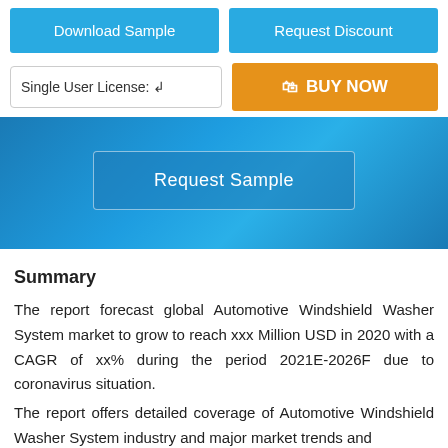[Figure (screenshot): Two blue buttons side by side: 'Download Sample' and 'Request Discount']
[Figure (screenshot): License selector box with 'Single User License' and orange 'BUY NOW' button]
[Figure (screenshot): Blue hero banner with 'Request Sample' button]
Summary
The report forecast global Automotive Windshield Washer System market to grow to reach xxx Million USD in 2020 with a CAGR of xx% during the period 2021E-2026F due to coronavirus situation.
The report offers detailed coverage of Automotive Windshield Washer System industry and major market trends and